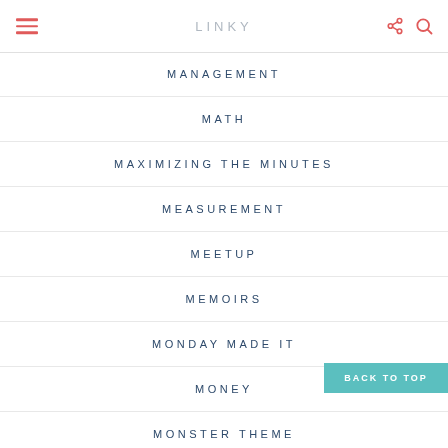LINKY
MANAGEMENT
MATH
MAXIMIZING THE MINUTES
MEASUREMENT
MEETUP
MEMOIRS
MONDAY MADE IT
MONEY
MONSTER THEME
BACK TO TOP